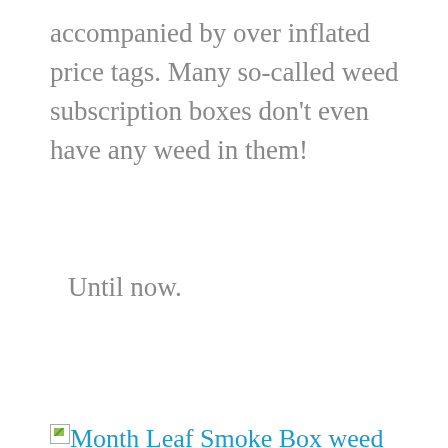accompanied by over inflated price tags. Many so-called weed subscription boxes don't even have any weed in them!
Until now.
[Figure (other): Broken image placeholder followed by link text: 'Month Leaf Smoke Box weed subscription boxes Subscription Box -']